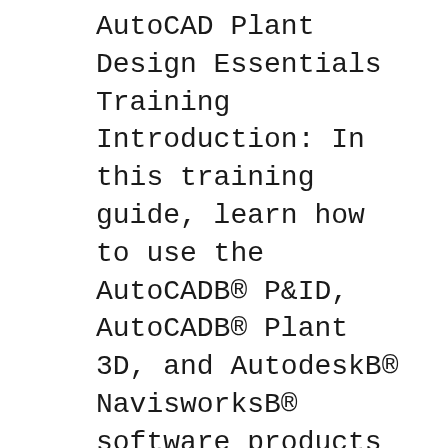AutoCAD Plant Design Essentials Training Introduction: In this training guide, learn how to use the AutoCADB® P&ID, AutoCADB® Plant 3D, and AutodeskB® NavisworksB® software products to complete a plant design project. This training guide includes five chapters comprised of lessons, exercises, and review questions. The training guide
Get the training you need to stay ahead with expert-led courses on AutoCAD Plant 3D. LEARNING WITH lynda.com CONTENT Business Creative Technology Subjects Business Software and Tools Career We're sorry but this site requires Javascript. CADLearning Performance